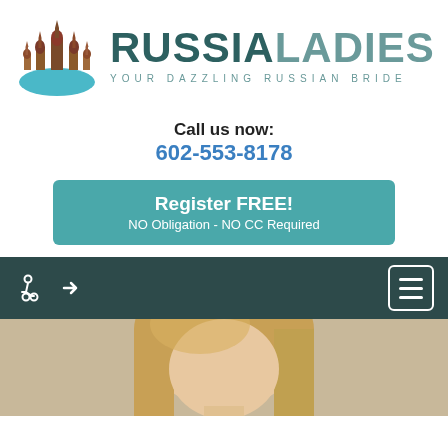[Figure (logo): Russia Ladies logo with Saint Basil's Cathedral icon and teal text reading RUSSIA LADIES, tagline YOUR DAZZLING RUSSIAN BRIDE]
Call us now:
602-553-8178
Register FREE!
NO Obligation - NO CC Required
[Figure (screenshot): Dark teal navigation bar with accessibility and arrow icons on the left, hamburger menu button on the right]
[Figure (photo): Partial photo of a young woman with long blonde hair, cropped at neck level]